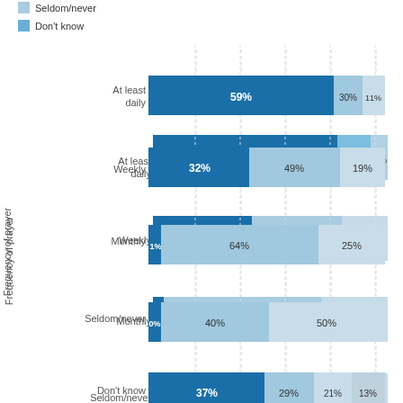Seldom/never
Don't know
[Figure (stacked-bar-chart): Frequency of prayer]